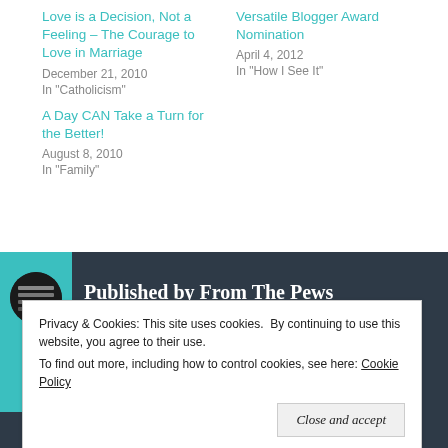Love is a Decision, Not a Feeling – The Courage to Love in Marriage
December 21, 2010
In "Catholicism"
Versatile Blogger Award Nomination
April 4, 2012
In "How I See It"
A Day CAN Take a Turn for the Better!
August 8, 2010
In "Family"
Published by From The Pews
Privacy & Cookies: This site uses cookies. By continuing to use this website, you agree to their use.
To find out more, including how to control cookies, see here: Cookie Policy
Close and accept
Sinners, I acknowledge